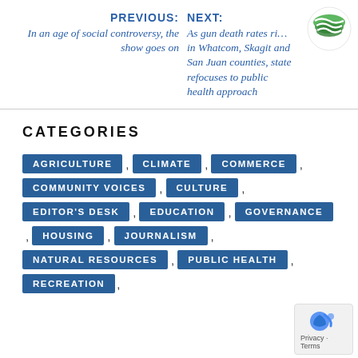PREVIOUS: In an age of social controversy, the show goes on
NEXT: As gun death rates rise in Whatcom, Skagit and San Juan counties, state refocuses to public health approach
CATEGORIES
AGRICULTURE
CLIMATE
COMMERCE
COMMUNITY VOICES
CULTURE
EDITOR'S DESK
EDUCATION
GOVERNANCE
HOUSING
JOURNALISM
NATURAL RESOURCES
PUBLIC HEALTH
RECREATION